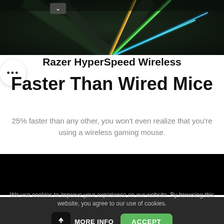[Figure (photo): Motion blur photo of colorful light streaks (orange, green, teal, blue) on a dark background, suggesting speed/racing.]
Razer HyperSpeed Wireless
Faster Than Wired Mice
25% faster than any other, you won't even realize that you're using a wireless gaming mouse.
We use cookies to improve your experience on our website. By browsing this website, you agree to our use of cookies.
MORE INFO
ACCEPT